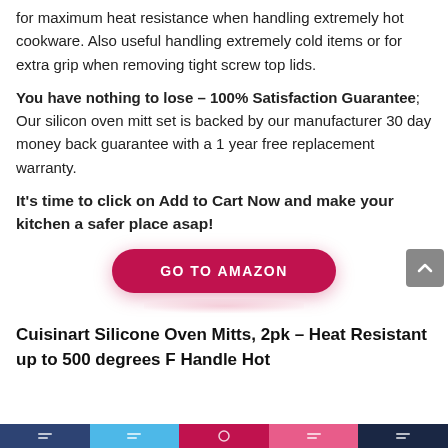for maximum heat resistance when handling extremely hot cookware. Also useful handling extremely cold items or for extra grip when removing tight screw top lids.
You have nothing to lose – 100% Satisfaction Guarantee; Our silicon oven mitt set is backed by our manufacturer 30 day money back guarantee with a 1 year free replacement warranty.
It's time to click on Add to Cart Now and make your kitchen a safer place asap!
[Figure (other): GO TO AMAZON button (red pill-shaped button) with a back-to-top arrow button in the top-right corner]
Cuisinart Silicone Oven Mitts, 2pk – Heat Resistant up to 500 degrees F Handle Hot
[Figure (other): Social sharing bar at the bottom with colored segments (dark blue, light blue, red/pink, pink/red, dark navy)]